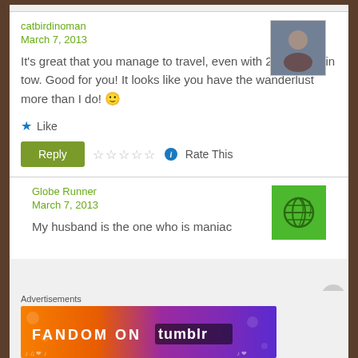catbirdinoman
March 7, 2013
It's great that you manage to travel, even with 2 little girls in tow. Good for you! It looks like you have the wanderlust more than I do! 🙂
Like
Reply | Rate This
Globe Runner
March 7, 2013
My husband is the one who is maniac
Advertisements
[Figure (screenshot): Fandom on Tumblr advertisement banner with colorful gradient background]